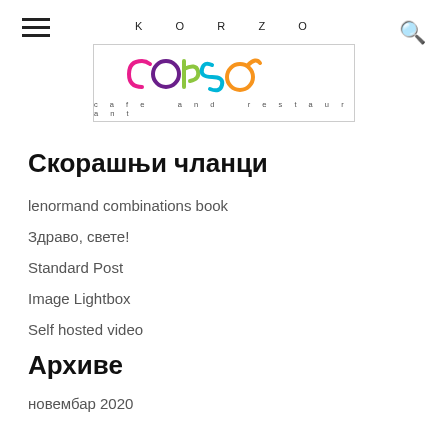KORZO — corso cafe and restaurant
Скорашњи чланци
lenormand combinations book
Здраво, свете!
Standard Post
Image Lightbox
Self hosted video
Архиве
новембар 2020